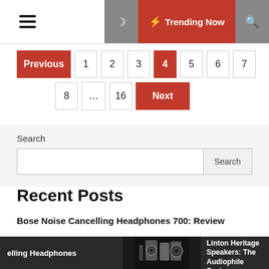Menu | Moon | Trending Now | Search
Previous 1 2 3 4 5 6 7 8 ... 16 Next
Search
Recent Posts
Bose Noise Cancelling Headphones 700: Review
Wharfedale Linton Heritage Speakers: The Audiophile System Builder
elling Headphones | Wharfedale Linton Heritage Speakers: The Audiophile System.